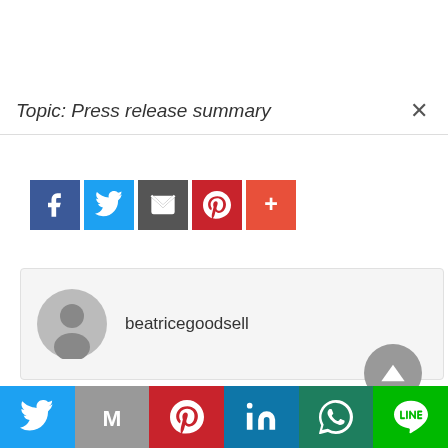Topic: Press release summary
[Figure (infographic): Row of five social media share buttons: Facebook (blue), Twitter (light blue), Email (dark gray), Pinterest (red), More/Plus (orange-red)]
beatricegoodsell
[Figure (infographic): Bottom social share bar with six buttons: Twitter (blue), Gmail (gray), Pinterest (red), LinkedIn (blue), WhatsApp (teal), Line (green)]